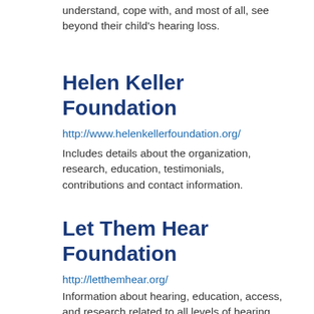understand, cope with, and most of all, see beyond their child's hearing loss.
Helen Keller Foundation
http://www.helenkellerfoundation.org/
Includes details about the organization, research, education, testimonials, contributions and contact information.
Let Them Hear Foundation
http://letthemhear.org/
Information about hearing, education, access, and research related to all levels of hearing impairment for children and adults.